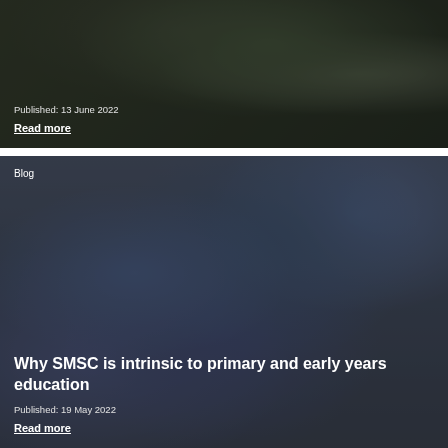[Figure (photo): Dark-toned photo of people outdoors appearing to pick up litter or do community work, wearing gloves, with overlay text showing publication date and read more link]
Published: 13 June 2022
Read more
[Figure (photo): Dark-toned photo of schoolchildren in blue uniforms standing outside near a sign, with a teacher, one child holding a certificate]
Blog
Why SMSC is intrinsic to primary and early years education
Published: 19 May 2022
Read more